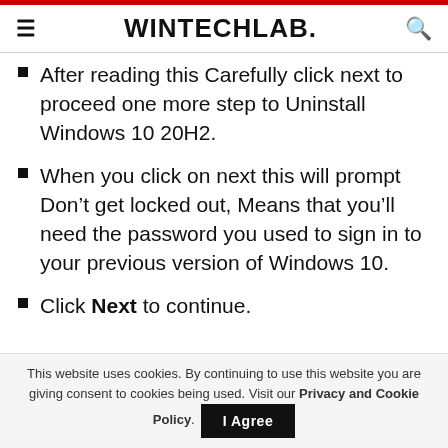WINTECHLAB.
After reading this Carefully click next to proceed one more step to Uninstall Windows 10 20H2.
When you click on next this will prompt Don’t get locked out, Means that you’ll need the password you used to sign in to your previous version of Windows 10.
Click Next to continue.
This website uses cookies. By continuing to use this website you are giving consent to cookies being used. Visit our Privacy and Cookie Policy.